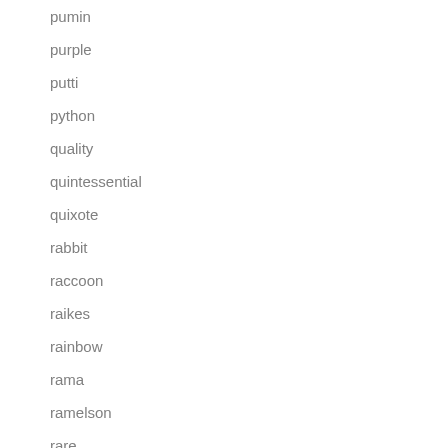pumin
purple
putti
python
quality
quintessential
quixote
rabbit
raccoon
raikes
rainbow
rama
ramelson
rare
rareantique
rarevintage
raven